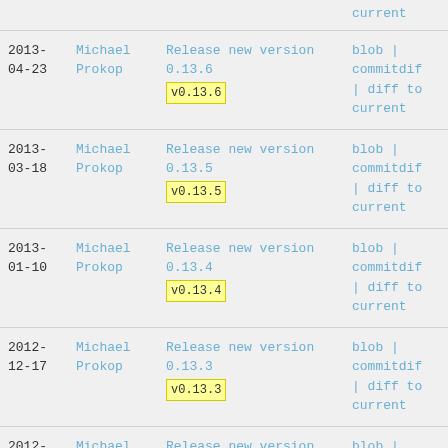| Date | Author | Commit | Links |
| --- | --- | --- | --- |
| (current) |  |  | current |
| 2013-04-23 | Michael Prokop | Release new version 0.13.6
v0.13.6 | blob | commitdif | diff to current |
| 2013-03-18 | Michael Prokop | Release new version 0.13.5
v0.13.5 | blob | commitdif | diff to current |
| 2013-01-10 | Michael Prokop | Release new version 0.13.4
v0.13.4 | blob | commitdif | diff to current |
| 2012-12-17 | Michael Prokop | Release new version 0.13.3
v0.13.3 | blob | commitdif | diff to current |
| 2012-09-11 | Michael Prokop | Release new version 0.13.2
v0.13.2 | blob | commitdif | diff to current |
| 2012-... | Michael... | Release new version 0.13.1... | blob |... |